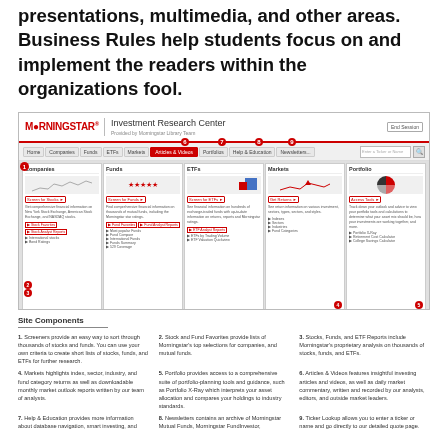presentations, multimedia, and other areas. Business Rules help students focus on and implement the readers within the organizations fool.
[Figure (screenshot): Morningstar Investment Research Center website screenshot showing navigation tabs (Home, Companies, Funds, ETFs, Markets, Articles & Videos, Portfolios, Help & Education, Newsletters), numbered callouts 1-9, and content sections for Companies, Funds, ETFs, Markets, and Portfolio.]
Site Components
1. Screeners provide an easy way to sort through thousands of stocks and funds. You can use your own criteria to create short lists of stocks, funds, and ETFs for further research.
2. Stock and Fund Favorites provide lists of Morningstar's top selections for companies, and mutual funds.
3. Stocks, Funds, and ETF Reports include Morningstar's proprietary analysis on thousands of stocks, funds, and ETFs.
4. Markets highlights index, sector, industry, and fund category returns as well as downloadable monthly market outlook reports written by our team of analysts.
5. Portfolio provides access to a comprehensive suite of portfolio-planning tools and guidance, such as Portfolio X-Ray which interprets your asset allocation and compares your holdings to industry standards.
6. Articles & Videos features insightful investing articles and videos, as well as daily market commentary, written and recorded by our analysts, editors, and outside market leaders.
7. Help & Education provides more information about database navigation, smart investing, and
8. Newsletters contains an archive of Morningstar Mutual Funds, Morningstar FundInvestor,
9. Ticker Lookup allows you to enter a ticker or name and go directly to our detailed quote page.